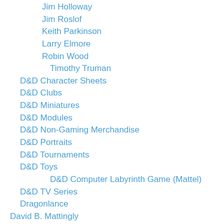Jim Holloway
Jim Roslof
Keith Parkinson
Larry Elmore
Robin Wood
Timothy Truman
D&D Character Sheets
D&D Clubs
D&D Miniatures
D&D Modules
D&D Non-Gaming Merchandise
D&D Portraits
D&D Tournaments
D&D Toys
D&D Computer Labyrinth Game (Mattel)
D&D TV Series
Dragonlance
David B. Mattingly
Department Stores
Dice/Gaming Accessories